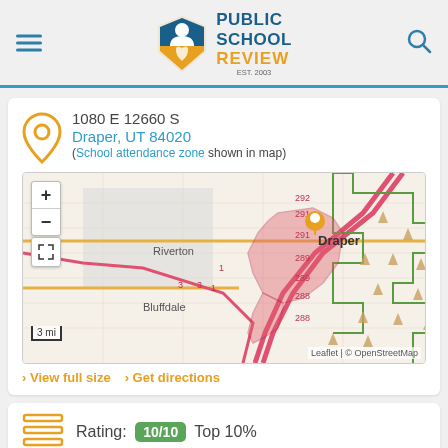Public School Review
1080 E 12660 S
Draper, UT 84020
(School attendance zone shown in map)
[Figure (map): Interactive map showing school attendance zone for Draper, UT area with highlighted red zone. Shows Riverton, Bluffdale, and Draper labels. Map includes zoom controls, expand button, 3 mi scale, and attribution to Leaflet | © OpenStreetMap.]
View full size   Get directions
Rating: 10/10 Top 10%